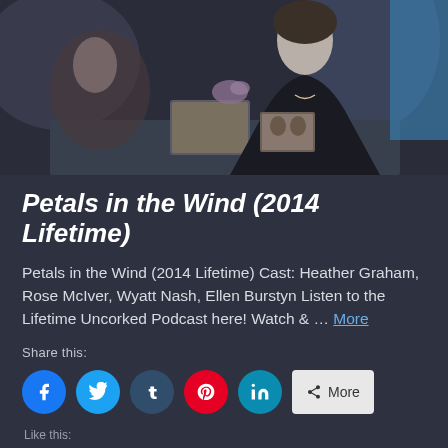[Figure (photo): A woman in a dark jacket sits at a table with photographs and flowers in the background, scene from Petals in the Wind (2014 Lifetime)]
Petals in the Wind (2014 Lifetime)
Petals in the Wind (2014 Lifetime) Cast: Heather Graham, Rose McIver, Wyatt Nash, Ellen Burstyn Listen to the Lifetime Uncorked Podcast here! Watch & … More
Share this:
Like this: